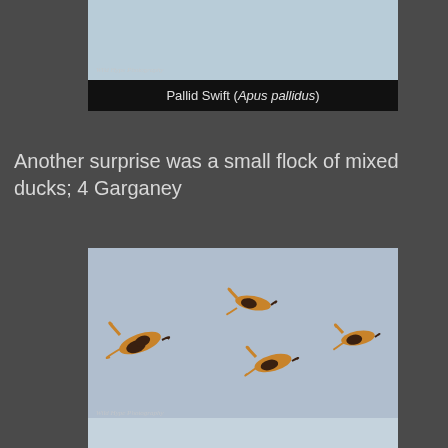[Figure (photo): Top portion of a Pallid Swift photograph with light blue-grey sky background, watermark 'Wild Hype Photography' visible]
Pallid Swift (Apus pallidus)
Another surprise was a small flock of mixed ducks; 4 Garganey
[Figure (photo): Four Garganey ducks in flight against a grey-blue sky, showing brown/orange plumage with dark markings. Watermark 'Wild Hype Photography' visible at bottom left.]
Garganey (Anas querquedula)
[Figure (photo): Bottom of another bird photograph, partially visible]